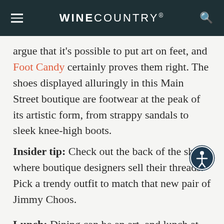WINE COUNTRY®
argue that it's possible to put art on feet, and Foot Candy certainly proves them right. The shoes displayed alluringly in this Main Street boutique are footwear at the peak of its artistic form, from strappy sandals to sleek knee-high boots.
Insider tip: Check out the back of the shop, where boutique designers sell their threads. Pick a trendy outfit to match that new pair of Jimmy Choos.
Lunch: Dining can be an art, and lunch at Harvest Table is like a classic oil painting with some bright colors thrown in to freshen it up. Chef Charlie Palmer opened his Wine Country kitchen in 2015 to rus…